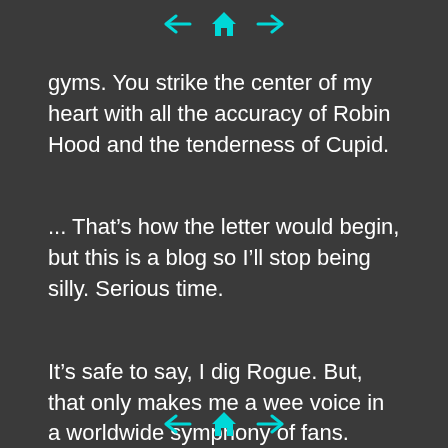← 🏠 →
gyms. You strike the center of my heart with all the accuracy of Robin Hood and the tenderness of Cupid.
... That's how the letter would begin, but this is a blog so I'll stop being silly. Serious time.
It's safe to say, I dig Rogue. But, that only makes me a wee voice in a worldwide symphony of fans. Rogue commands legions upon legions of attention.
← 🏠 →